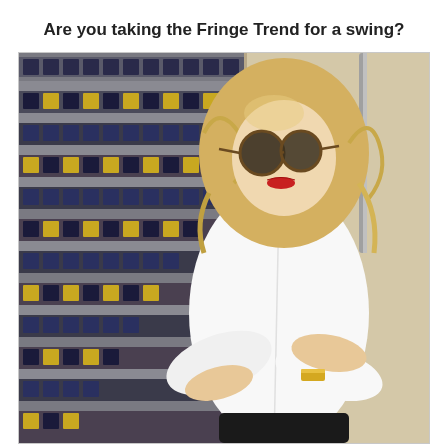Are you taking the Fringe Trend for a swing?
[Figure (photo): A blonde woman wearing sunglasses, a white button-down shirt, a gold cuff bracelet, and black pants, sitting on decorative blue and gold tiled steps next to a tan/beige wall. She has red lipstick and wavy hair. Her arms are crossed and she is looking down.]